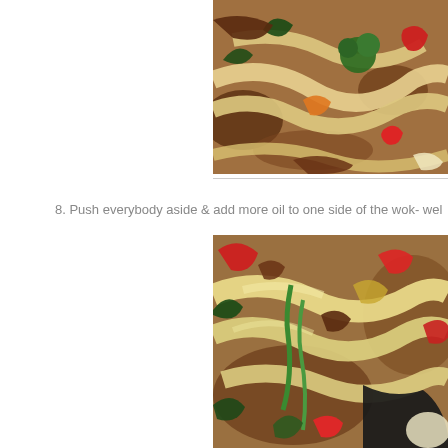[Figure (photo): Close-up photo of stir-fried noodles with beef, broccoli, red peppers, and vegetables in a wok, top right portion of page]
8. Push everybody aside & add more oil to one side of the wok- wel
[Figure (photo): Close-up photo of stir-fried rice noodles with vegetables, red peppers, green onions, and a dark wok utensil visible, bottom right portion of page]